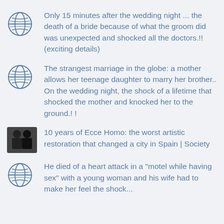Only 15 minutes after the wedding night ... the death of a bride because of what the groom did was unexpected and shocked all the doctors.!! (exciting details)
The strangest marriage in the globe: a mother allows her teenage daughter to marry her brother.. On the wedding night, the shock of a lifetime that shocked the mother and knocked her to the ground.! !
10 years of Ecce Homo: the worst artistic restoration that changed a city in Spain | Society
He died of a heart attack in a "motel while having sex" with a young woman and his wife had to make her feel the shock...